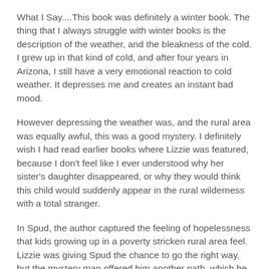What I Say....This book was definitely a winter book.  The thing that I always struggle with winter books is the description of the weather, and the bleakness of the cold.  I grew up in that kind of cold, and after four years in Arizona, I still have a very emotional reaction to cold weather.  It depresses me and creates an instant bad mood.
However depressing the weather was, and the rural area was equally awful, this was a good mystery.  I definitely wish I had read earlier books where Lizzie was featured, because I don't feel like I ever understood why her sister's daughter disappeared, or why they would think this child would suddenly appear in the rural wilderness with a total stranger.
In Spud, the author captured the feeling of hopelessness that kids growing up in a poverty stricken rural area feel.  Lizzie was giving Spud the chance to go the right way, but the mystery man offered him another path, which he apparently was a lot more familiar with than we knew in the beginning.
The book left off paving the way for the next Lizzie Snow book.  I grew to dislike the Eve series by Iris Johansen, so I